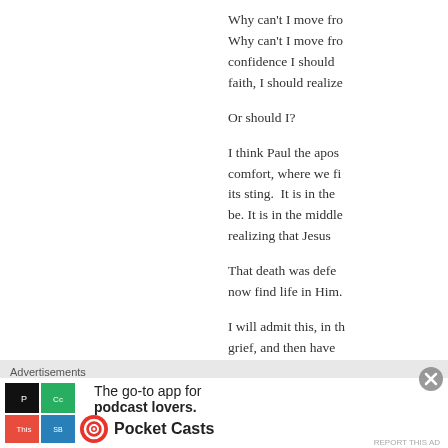Why can't I move fro... Why can't I move fro... confidence I should faith, I should realize
Or should I?
I think Paul the apos... comfort, where we fi... its sting. It is in the ... be. It is in the middle... realizing that Jesus ...
That death was defe... now find life in Him.
I will admit this, in th... grief, and then have... incredible worsh...
Advertisements
[Figure (infographic): Pocket Casts advertisement banner: colorful app icon with geometric shapes (red, green, blue, black) on left, text 'The go-to app for podcast lovers.' in center, Pocket Casts logo on right, with close button overlay.]